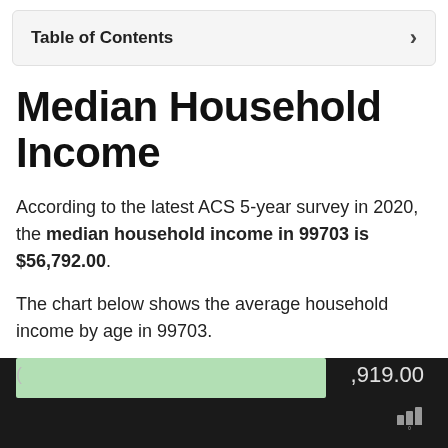Table of Contents
Median Household Income
According to the latest ACS 5-year survey in 2020, the median household income in 99703 is $56,792.00.
The chart below shows the average household income by age in 99703.
[Figure (bar-chart): Partial bar chart visible at bottom of page showing household income data; a green bar is visible with value partially shown as ,919.00]